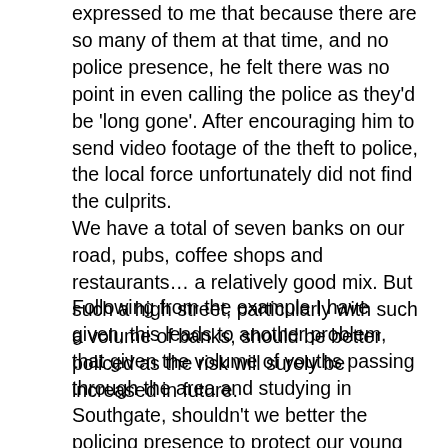expressed to me that because there are so many of them at that time, and no police presence, he felt there was no point in even calling the police as they'd be 'long gone'. After encouraging him to send video footage of the theft to police, the local force unfortunately did not find the culprits.
We have a total of seven banks on our road, pubs, coffee shops and restaurants… a relatively good mix. But such a high street, particularly with such a volume of banks, should be better policed as the risk will surely be increased in future.
Following from the example I have given, this leads to another problem, that given the volume of youths passing through the area and studying in Southgate, shouldn't we better the policing presence to protect our young members of society?
We have in total six primary schools and a secondary